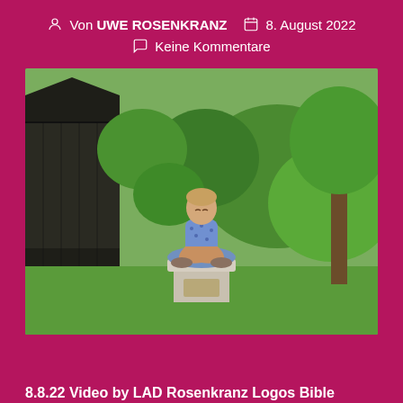Von UWE ROSENKRANZ   8. August 2022   Keine Kommentare
[Figure (photo): A man sitting cross-legged in a meditative pose on top of a stone pedestal/pillar outdoors, surrounded by green trees and vegetation, with a dark wooden shed/barn on the left side. The person is wearing a blue patterned shirt and light blue jeans.]
8.8.22 Video by LAD Rosenkranz Logos Bible